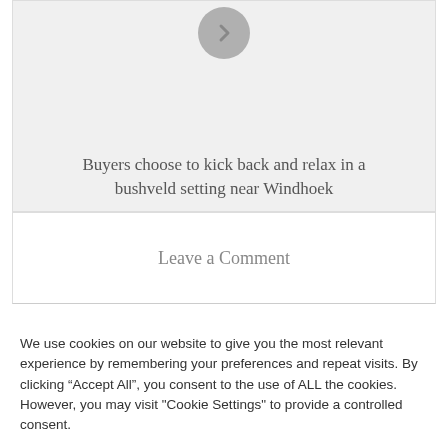[Figure (other): A circular grey arrow button pointing right, part of a card/slider UI element with light grey background]
Buyers choose to kick back and relax in a bushveld setting near Windhoek
Leave a Comment
We use cookies on our website to give you the most relevant experience by remembering your preferences and repeat visits. By clicking “Accept All”, you consent to the use of ALL the cookies. However, you may visit "Cookie Settings" to provide a controlled consent.